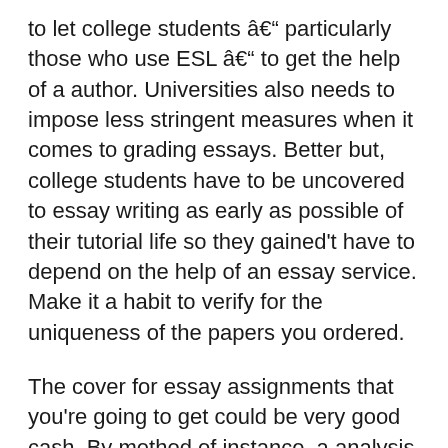to let college students â particularly those who use ESL â to get the help of a author. Universities also needs to impose less stringent measures when it comes to grading essays. Better but, college students have to be uncovered to essay writing as early as possible of their tutorial life so they gained't have to depend on the help of an essay service. Make it a habit to verify for the uniqueness of the papers you ordered.
The cover for essay assignments that you're going to get could be very good cash. By method of instance, a analysis paper pays for a full-time research of a selected topic, or half time job research for a thesis or dissertation. If your project is handed in Â»as is, Â» from the creator in your college or